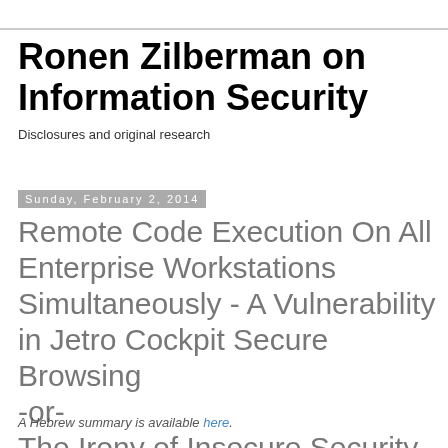Ronen Zilberman on Information Security
Disclosures and original research
Sunday, February 2, 2014
Remote Code Execution On All Enterprise Workstations Simultaneously - A Vulnerability in Jetro Cockpit Secure Browsing -or- The Irony of Insecure Security Software
A Hebrew summary is available here.